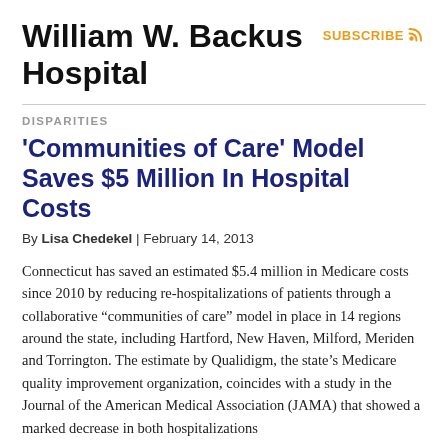William W. Backus Hospital
DISPARITIES
'Communities of Care' Model Saves $5 Million In Hospital Costs
By Lisa Chedekel | February 14, 2013
Connecticut has saved an estimated $5.4 million in Medicare costs since 2010 by reducing re-hospitalizations of patients through a collaborative “communities of care” model in place in 14 regions around the state, including Hartford, New Haven, Milford, Meriden and Torrington. The estimate by Qualidigm, the state’s Medicare quality improvement organization, coincides with a study in the Journal of the American Medical Association (JAMA) that showed a marked decrease in both hospitalizations